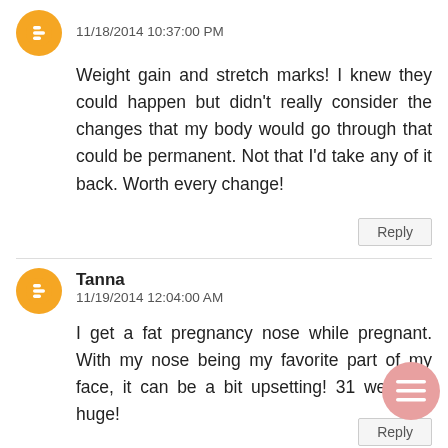11/18/2014 10:37:00 PM
Weight gain and stretch marks! I knew they could happen but didn't really consider the changes that my body would go through that could be permanent. Not that I'd take any of it back. Worth every change!
Reply
Tanna
11/19/2014 12:04:00 AM
I get a fat pregnancy nose while pregnant. With my nose being my favorite part of my face, it can be a bit upsetting! 31 weeks a huge!
Reply